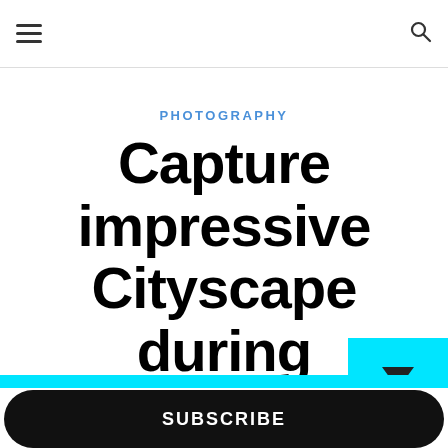≡ [hamburger menu]    [search icon]
PHOTOGRAPHY
Capture impressive Cityscape during Nightfall that
Friend Zone >> Sign-up now - don't miss the fun!
Your email address..
SUBSCRIBE